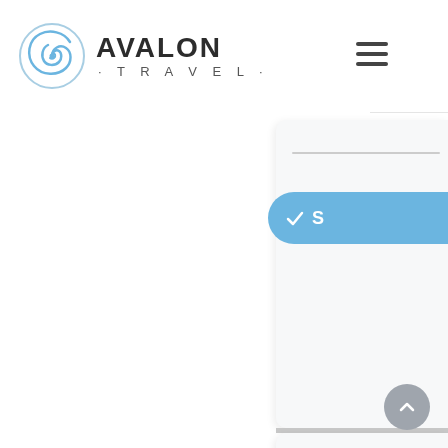[Figure (logo): Avalon Travel logo with blue spiral/swirl icon on the left and 'AVALON TRAVEL' text on the right, with AVALON in large bold black letters and TRAVEL in smaller spaced grey letters below]
[Figure (other): Hamburger menu icon (three horizontal lines) in dark grey on the right side of the header]
[Figure (screenshot): Partial screenshot of a web UI panel on the right side showing a light grey card, a blue rounded button partially visible with a checkmark and letter S, and a second white card below. A grey scroll-to-top circular button with an up arrow is visible at the bottom right.]